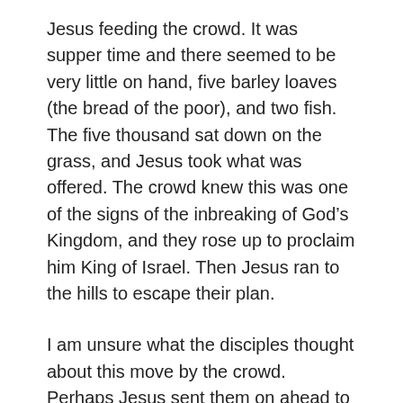Jesus feeding the crowd. It was supper time and there seemed to be very little on hand, five barley loaves (the bread of the poor), and two fish. The five thousand sat down on the grass, and Jesus took what was offered. The crowd knew this was one of the signs of the inbreaking of God’s Kingdom, and they rose up to proclaim him King of Israel. Then Jesus ran to the hills to escape their plan.
I am unsure what the disciples thought about this move by the crowd. Perhaps Jesus sent them on ahead to the other side of the lake, or perhaps he escaped them as well. Perhaps they, too, were ready to proclaim him King of Israel. So, there they were rowing across the lake when the wind came